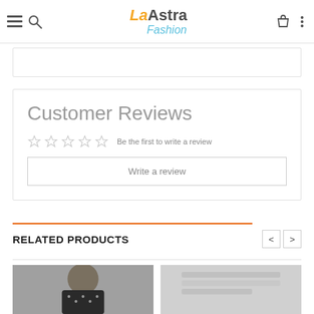Department Name: Ande
[Figure (logo): La Astra Fashion logo with hamburger menu, search icon, bag icon, and vertical dots]
Customer Reviews
☆☆☆☆☆ Be the first to write a review
Write a review
RELATED PRODUCTS
[Figure (photo): Product image on the left - person wearing a black and white floral item]
[Figure (photo): Product image on the right - partial gray/light colored product]